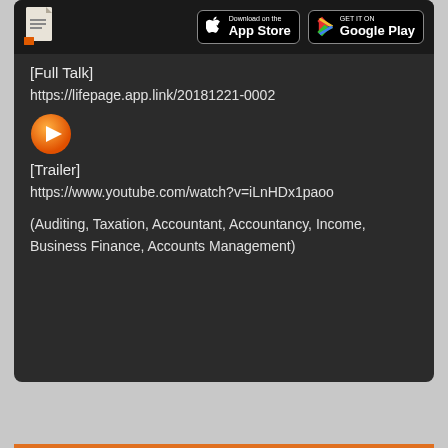[Figure (screenshot): App store download buttons: Download on the App Store and Get it on Google Play, with a document icon on the left, on a dark top bar]
[Full Talk]
https://lifepage.app.link/20181221-0002
[Figure (illustration): Orange circular play button icon]
[Trailer]
https://www.youtube.com/watch?v=iLnHDx1paoo
(Auditing, Taxation, Accountant, Accountancy, Income, Business Finance, Accounts Management)